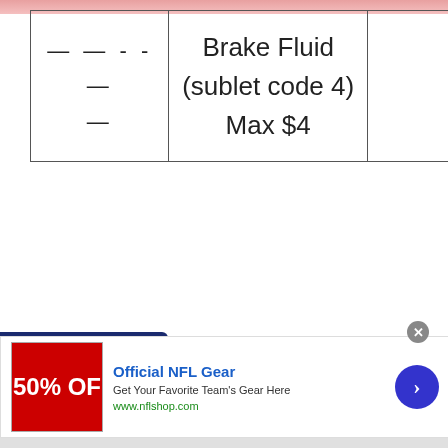|  | Brake Fluid (sublet code 4) Max $4 |  |
| --- | --- | --- |
| — — - - —
— | Brake Fluid
(sublet code 4)
Max $4 |  |
[Figure (screenshot): Infolinks advertisement bar with NFL Gear ad showing 50% OFF, Official NFL Gear title, description and www.nflshop.com URL with blue arrow button and close X button]